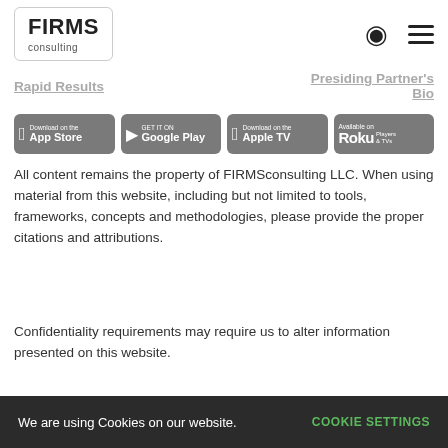[Figure (logo): FIRMS consulting logo in a rounded rectangle box]
FIRMS consulting [navigation header with search and menu icons]
Rapid Results
Presiding Partner's Bio
[Figure (infographic): Four app store badges: Download on the App Store, Get it on Google Play, Download on Apple TV, Available on Roku Players & TVs]
All content remains the property of FIRMSconsulting LLC. When using material from this website, including but not limited to tools, frameworks, concepts and methodologies, please provide the proper citations and attributions.
Confidentiality requirements may require us to alter information presented on this website.
FIRMSconsulting™, StrategyTraining™, StrategyTV™ and The Consulting Offer™ are
We are using Cookies on our website. COOKIE SETTINGS